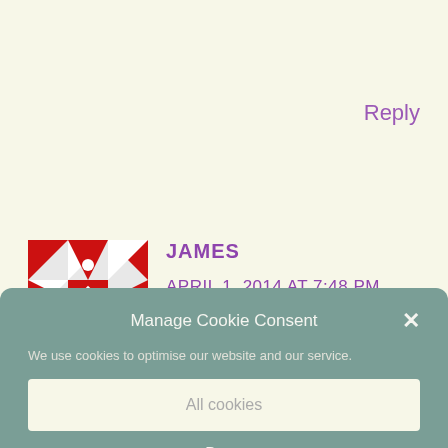Reply
[Figure (illustration): Red and white decorative quilt-pattern square avatar icon for commenter James]
JAMES
APRIL 1, 2014 AT 7:48 PM
Manage Cookie Consent
We use cookies to optimise our website and our service.
All cookies
Deny